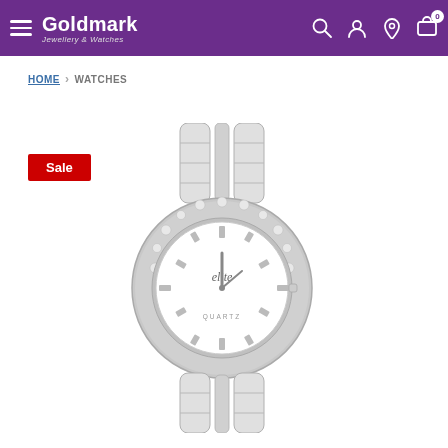Goldmark Jewellery & Watches — navigation header
HOME > WATCHES
Sale
[Figure (photo): A ladies Elite brand quartz watch with a white and silver ceramic bracelet band, crystal-studded bezel, white dial with silver hour markers, and the word QUARTZ printed near the bottom of the dial.]